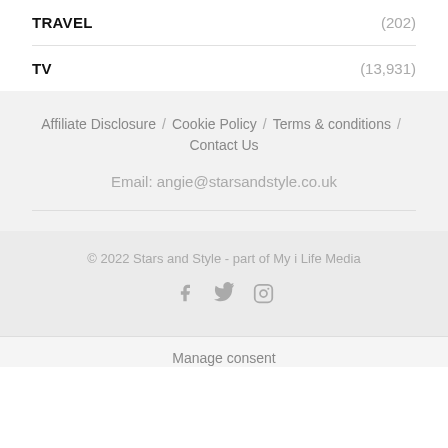TRAVEL (202)
TV (13,931)
Affiliate Disclosure / Cookie Policy / Terms & conditions / Contact Us
Email: angie@starsandstyle.co.uk
© 2022 Stars and Style - part of My i Life Media
[Figure (other): Social media icons: Facebook, Twitter, Instagram]
Manage consent